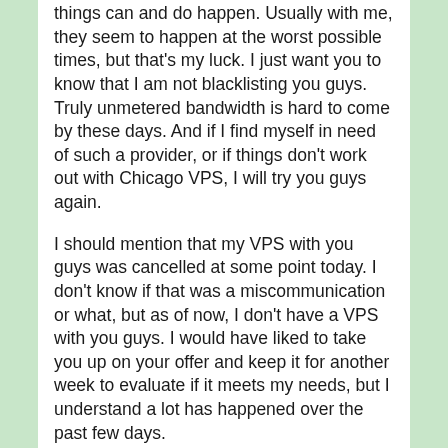things can and do happen. Usually with me, they seem to happen at the worst possible times, but that's my luck. I just want you to know that I am not blacklisting you guys. Truly unmetered bandwidth is hard to come by these days. And if I find myself in need of such a provider, or if things don't work out with Chicago VPS, I will try you guys again.
I should mention that my VPS with you guys was cancelled at some point today. I don't know if that was a miscommunication or what, but as of now, I don't have a VPS with you guys. I would have liked to take you up on your offer and keep it for another week to evaluate if it meets my needs, but I understand a lot has happened over the past few days.
January 28, 2012 @ 3:03 am | Reply